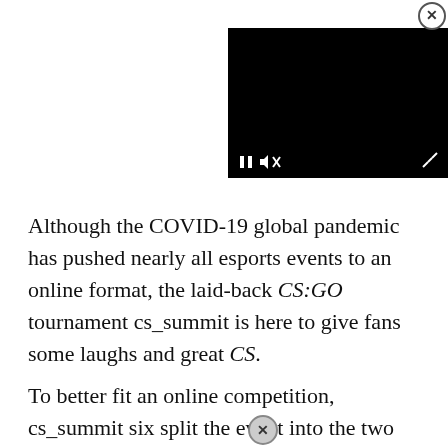[Figure (screenshot): A video player widget overlaid in the upper-right corner of the page. The player shows a black screen with a pause button (||) and a muted speaker icon (speaker with x) at the bottom left, and a fullscreen/resize icon at the bottom right. A close button (circled X) appears in the upper-right corner of the player.]
Although the COVID-19 global pandemic has pushed nearly all esports events to an online format, the laid-back CS:GO tournament cs_summit is here to give fans some laughs and great CS.
To better fit an online competition, cs_summit six split the event into the two major regions: North America and Europe. There are multiple phases...